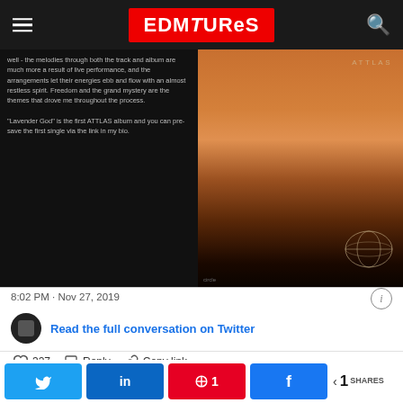EDMTunes
[Figure (screenshot): Tweet embedded image showing two panels: left panel dark background with white text about 'Lavender God' album, right panel showing orange/sunset landscape album art with 'ATTLAS' text]
8:02 PM · Nov 27, 2019
Read the full conversation on Twitter
♡ 327   Reply   Copy link
Read 18 replies
< 1 SHARES